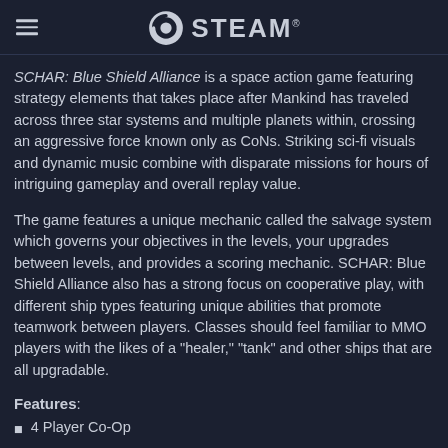STEAM
SCHAR: Blue Shield Alliance is a space action game featuring strategy elements that takes place after Mankind has traveled across three star systems and multiple planets within, crossing an aggressive force known only as CoNs. Striking sci-fi visuals and dynamic music combine with disparate missions for hours of intriguing gameplay and overall replay value.
The game features a unique mechanic called the salvage system which governs your objectives in the levels, your upgrades between levels, and provides a scoring mechanic. SCHAR: Blue Shield Alliance also has a strong focus on cooperative play, with different ship types featuring unique abilities that promote teamwork between players. Classes should feel familiar to MMO players with the likes of a "healer," "tank" and other ships that are all upgradable.
Features:
4 Player Co-Op